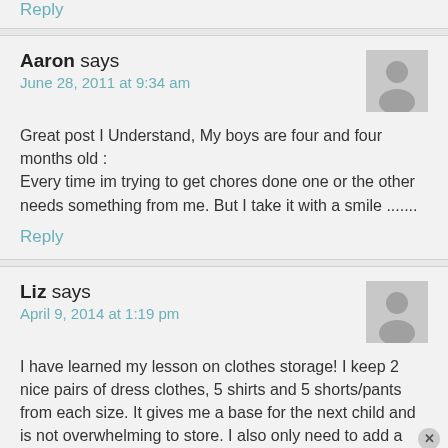Reply
Aaron says
June 28, 2011 at 9:34 am
Great post I Understand, My boys are four and four months old :
Every time im trying to get chores done one or the other needs something from me. But I take it with a smile .......
Reply
Liz says
April 9, 2014 at 1:19 pm
I have learned my lesson on clothes storage! I keep 2 nice pairs of dress clothes, 5 shirts and 5 shorts/pants from each size. It gives me a base for the next child and is not overwhelming to store. I also only need to add a few items to suppliment. I only keep shoes that look like new. I give away or sell the rest. I decided this when my now 3 year old was just over a year. I had almost 3 tubs of baby clothes and I jus